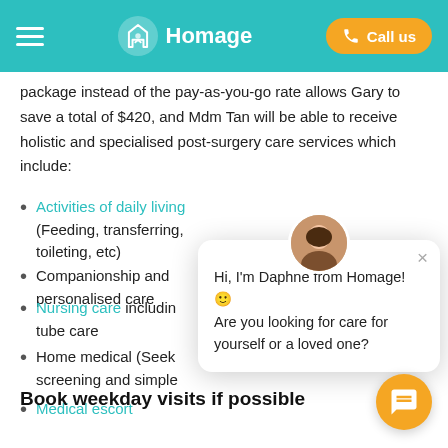Homage — Call us
package instead of the pay-as-you-go rate allows Gary to save a total of $420, and Mdm Tan will be able to receive holistic and specialised post-surgery care services which include:
Activities of daily living (Feeding, transferring, toileting, etc)
Companionship and personalised care
Nursing care including tube care
Home medical (Seek screening and simple
Medical escort
[Figure (other): Chat popup from Daphne from Homage with avatar photo and message: Hi, I'm Daphne from Homage! Are you looking for care for yourself or a loved one?]
Book weekday visits if possible
(partial bottom text cut off)